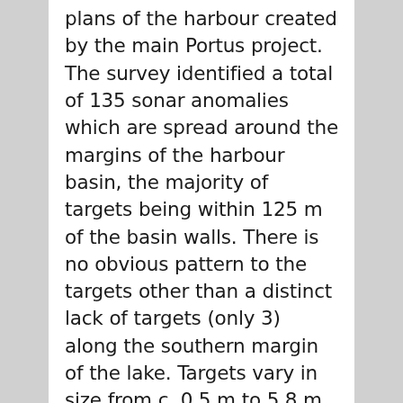plans of the harbour created by the main Portus project. The survey identified a total of 135 sonar anomalies which are spread around the margins of the harbour basin, the majority of targets being within 125 m of the basin walls. There is no obvious pattern to the targets other than a distinct lack of targets (only 3) along the southern margin of the lake. Targets vary in size from c. 0.5 m to 5.8 m in size with the majority of targets being between 1 and 2 m in dimension. It is anticipated that a dive team will be deployed in the near future to